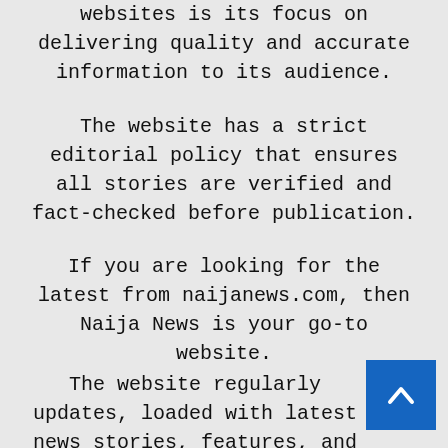websites is its focus on delivering quality and accurate information to its audience.
The website has a strict editorial policy that ensures all stories are verified and fact-checked before publication.
If you are looking for the latest from naijanews.com, then Naija News is your go-to website.
The website regularly updates, loaded with latest news stories, features, and analyses.